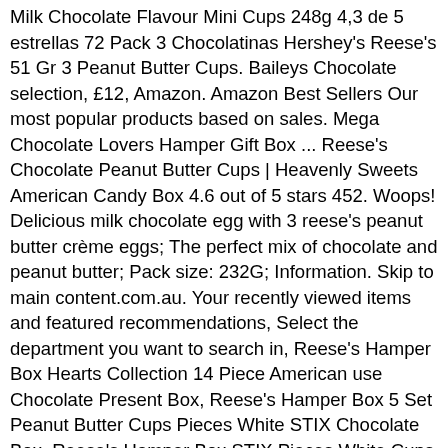Milk Chocolate Flavour Mini Cups 248g 4,3 de 5 estrellas 72 Pack 3 Chocolatinas Hershey's Reese's 51 Gr 3 Peanut Butter Cups. Baileys Chocolate selection, £12, Amazon. Amazon Best Sellers Our most popular products based on sales. Mega Chocolate Lovers Hamper Gift Box ... Reese's Chocolate Peanut Butter Cups | Heavenly Sweets American Candy Box 4.6 out of 5 stars 452. Woops! Delicious milk chocolate egg with 3 reese's peanut butter crème eggs; The perfect mix of chocolate and peanut butter; Pack size: 232G; Information. Skip to main content.com.au. Your recently viewed items and featured recommendations, Select the department you want to search in, Reese's Hamper Box Hearts Collection 14 Piece American use Chocolate Present Box, Reese's Hamper Box 5 Set Peanut Butter Cups Pieces White STIX Chocolate Box, Reese's Hamper Box STIX Pieces White Cups Peanut Butter Chocolate 6 Box, Reese's Hamper Peanut Butter Chocolate Selection Box Christmas 6 Piece Gift